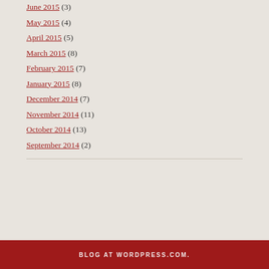June 2015 (3)
May 2015 (4)
April 2015 (5)
March 2015 (8)
February 2015 (7)
January 2015 (8)
December 2014 (7)
November 2014 (11)
October 2014 (13)
September 2014 (2)
BLOG AT WORDPRESS.COM.